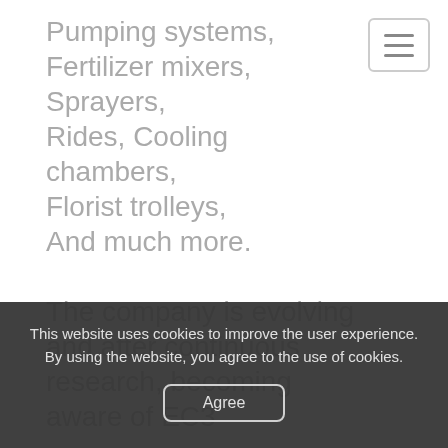Pumping systems, Fertilizer mixers, Sprayers, Rides, Cooling chambers, Florist trolleys, And much more.

The company is evolving and after continuous research, becoming aware of EC3
This website uses cookies to improve the user experience. By using the website, you agree to the use of cookies.
Agree